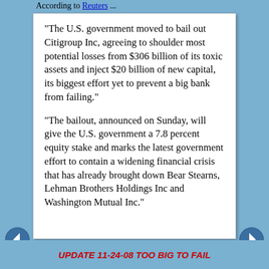According to Reuters ...
"The U.S. government moved to bail out Citigroup Inc, agreeing to shoulder most potential losses from $306 billion of its toxic assets and inject $20 billion of new capital, its biggest effort yet to prevent a big bank from failing."
"The bailout, announced on Sunday, will give the U.S. government a 7.8 percent equity stake and marks the latest government effort to contain a widening financial crisis that has already brought down Bear Stearns, Lehman Brothers Holdings Inc and Washington Mutual Inc."
UPDATE 11-24-08 TOO BIG TO FAIL